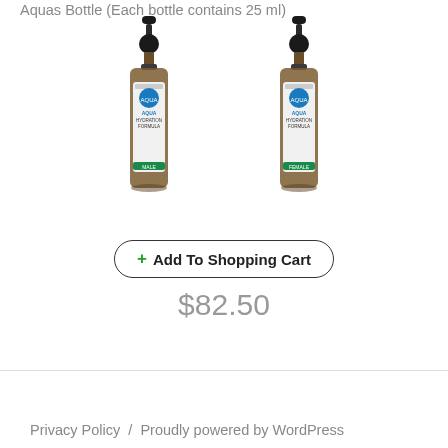Aquas Bottle (Each bottle contains 25 ml)
[Figure (photo): Two amber glass dropper bottles of Aqua Hydration Formula product, side by side]
+ Add To Shopping Cart
$82.50
Privacy Policy / Proudly powered by WordPress